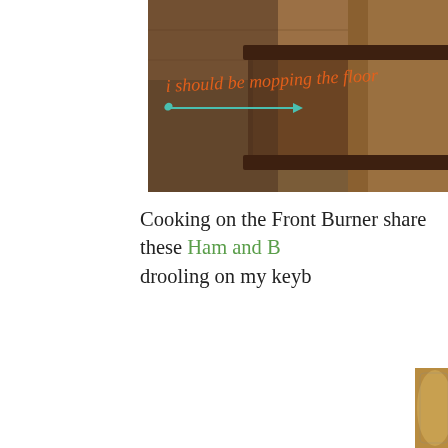[Figure (photo): Top banner photo showing a wooden table/furniture surface with a blog logo overlay that reads 'i should be mopping the floor' in orange script with a teal arrow decoration underneath]
Cooking on the Front Burner share these Ham and B... drooling on my keyb...
[Figure (photo): Close-up food photo showing a round hand pie or biscuit with an X slash on top, golden-brown crust with crimped edges, alongside a glass mason jar with dark contents, on a wooden surface]